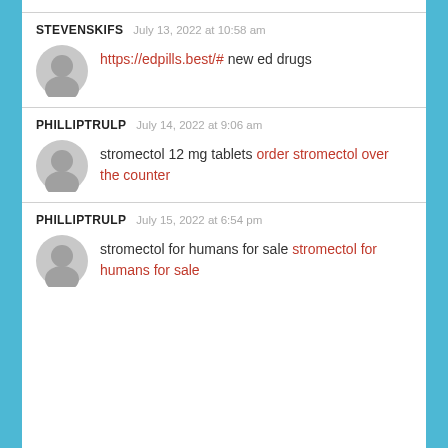STEVENSKIFS   July 13, 2022 at 10:58 am
https://edpills.best/# new ed drugs
PHILLIPTRULP   July 14, 2022 at 9:06 am
stromectol 12 mg tablets order stromectol over the counter
PHILLIPTRULP   July 15, 2022 at 6:54 pm
stromectol for humans for sale stromectol for humans for sale